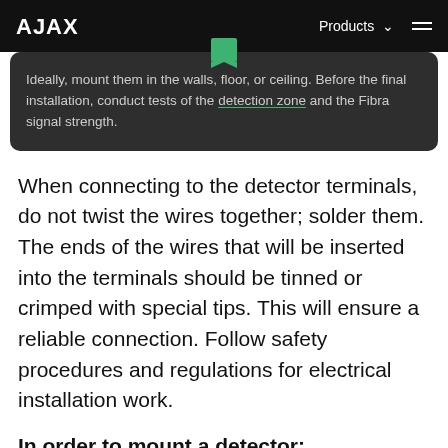AJAX   Products   ☰
Ideally, mount them in the walls, floor, or ceiling. Before the final installation, conduct tests of the detection zone and the Fibra signal strength.
When connecting to the detector terminals, do not twist the wires together; solder them. The ends of the wires that will be inserted into the terminals should be tinned or crimped with special tips. This will ensure a reliable connection. Follow safety procedures and regulations for electrical installation work.
In order to mount a detector: